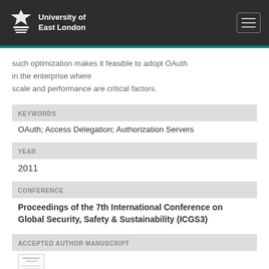University of East London
such optimization makes it feasible to adopt OAuth in the enterprise where scale and performance are critical factors.
KEYWORDS
OAuth; Access Delegation; Authorization Servers
YEAR
2011
CONFERENCE
Proceedings of the 7th International Conference on Global Security, Safety & Sustainability (ICGS3)
ACCEPTED AUTHOR MANUSCRIPT
[Figure (other): Thumbnail preview of an accepted author manuscript document]